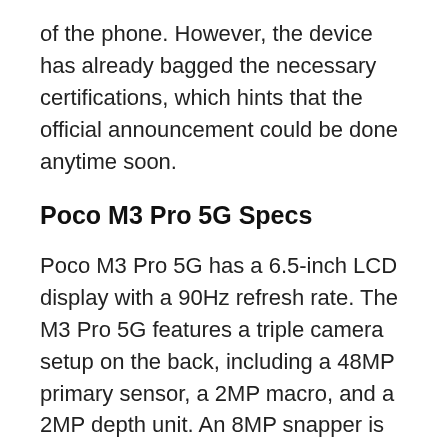of the phone. However, the device has already bagged the necessary certifications, which hints that the official announcement could be done anytime soon.
Poco M3 Pro 5G Specs
Poco M3 Pro 5G has a 6.5-inch LCD display with a 90Hz refresh rate. The M3 Pro 5G features a triple camera setup on the back, including a 48MP primary sensor, a 2MP macro, and a 2MP depth unit. An 8MP snapper is there for selfies and video calling. It is fueled by a Dimensity 700 SoC, coupled with up to 6GB RAM and up to 128GB storage. Poco M3 Pro 5G is backed by a 5,000mAh battery and supports 18W fast charging through a USB Type-C port.